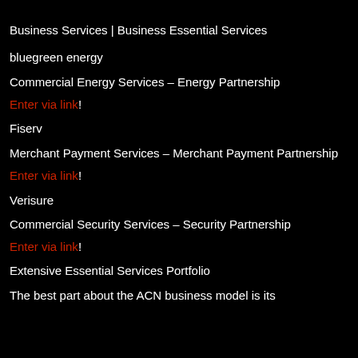Business Services | Business Essential Services
bluegreen energy
Commercial Energy Services – Energy Partnership
Enter via link!
Fiserv
Merchant Payment Services – Merchant Payment Partnership
Enter via link!
Verisure
Commercial Security Services – Security Partnership
Enter via link!
Extensive Essential Services Portfolio
The best part about the ACN business model is its